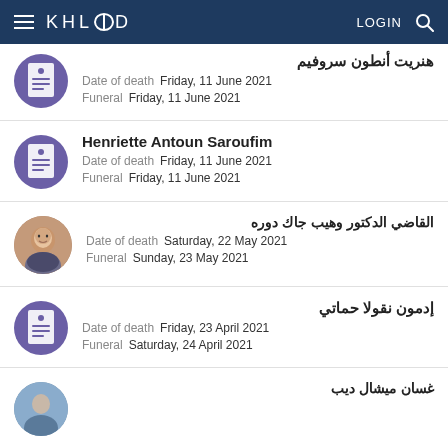KHLOOD  LOGIN
هنريت أنطون سروفيم — Date of death: Friday, 11 June 2021 — Funeral: Friday, 11 June 2021
Henriette Antoun Saroufim — Date of death: Friday, 11 June 2021 — Funeral: Friday, 11 June 2021
القاضي الدكتور وهيب جاك دوره — Date of death: Saturday, 22 May 2021 — Funeral: Sunday, 23 May 2021
إدمون نقولا حماتي — Date of death: Friday, 23 April 2021 — Funeral: Saturday, 24 April 2021
غسان ميشال ديب (partial)